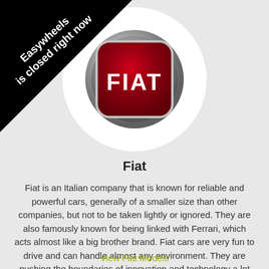[Figure (logo): Fiat brand logo — red rounded square badge with chrome ring and white FIAT lettering, inside a white circle]
Easywheels is closed right now
Fiat
Fiat is an Italian company that is known for reliable and powerful cars, generally of a smaller size than other companies, but not to be taken lightly or ignored. They are also famously known for being linked with Ferrari, which acts almost like a big brother brand. Fiat cars are very fun to drive and can handle almost any environment. They are pushing the boundaries of innovation and technology a lot more than other manufacturers, and this has
View Fiat Models